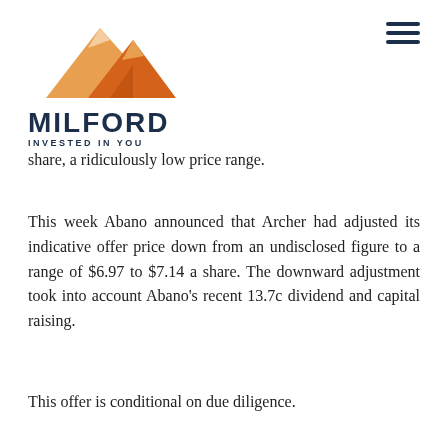[Figure (logo): Milford Asset Management logo with mountain graphic. Orange mountain peak illustration above bold dark navy text reading MILFORD with subtitle INVESTED IN YOU.]
share, a ridiculously low price range.
This week Abano announced that Archer had adjusted its indicative offer price down from an undisclosed figure to a range of $6.97 to $7.14 a share. The downward adjustment took into account Abano’s recent 13.7c dividend and capital raising.
This offer is conditional on due diligence.